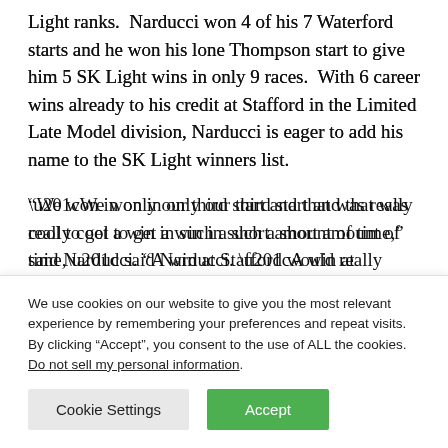Light ranks.  Narducci won 4 of his 7 Waterford starts and he won his lone Thompson start to give him 5 SK Light wins in only 9 races.  With 6 career wins already to his credit at Stafford in the Limited Late Model division, Narducci is eager to add his name to the SK Light winners list.
“We won in only our third start and that was really cool to get a win in such a short amount of time,” said Narducci. “A win at Stafford would really mean a lot.  I know the car is
We use cookies on our website to give you the most relevant experience by remembering your preferences and repeat visits. By clicking “Accept”, you consent to the use of ALL the cookies.
Do not sell my personal information.